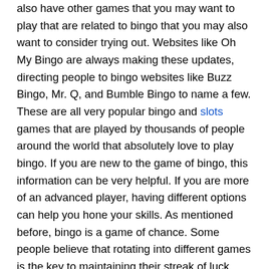also have other games that you may want to play that are related to bingo that you may also want to consider trying out. Websites like Oh My Bingo are always making these updates, directing people to bingo websites like Buzz Bingo, Mr. Q, and Bumble Bingo to name a few. These are all very popular bingo and slots games that are played by thousands of people around the world that absolutely love to play bingo. If you are new to the game of bingo, this information can be very helpful. If you are more of an advanced player, having different options can help you hone your skills. As mentioned before, bingo is a game of chance. Some people believe that rotating into different games is the key to maintaining their streak of luck. Regardless of why you want to play, or which games you play, bingo is a fan favourite worldwide. You can locate these websites within a few minutes, leading you to the many different bingo games that you may be able to win at even after your first try. Resources: http://iamthetrend.com/2011/02/22/hipster-bingo-is-not-your-grandmas-bingo-game/